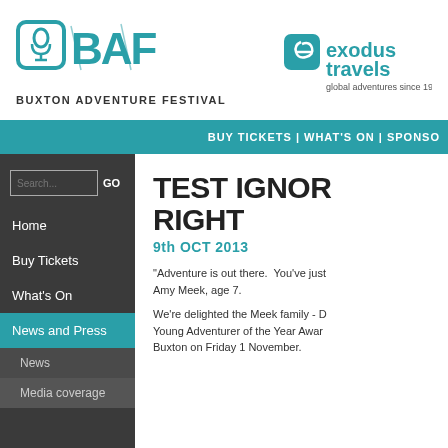[Figure (logo): BAF - Buxton Adventure Festival logo in teal with microphone icon]
BUXTON ADVENTURE FESTIVAL
[Figure (logo): Exodus Travels logo - teal icon with 'exodus travels' text and tagline 'global adventures since 1974']
BUY TICKETS | WHAT'S ON | SPONSO
Search...  GO
Home
Buy Tickets
What's On
News and Press
News
Media coverage
TEST IGNORE RIGHT
9th OCT 2013
"Adventure is out there.  You've just Amy Meek, age 7.
We're delighted the Meek family - D Young Adventurer of the Year Awar Buxton on Friday 1 November.